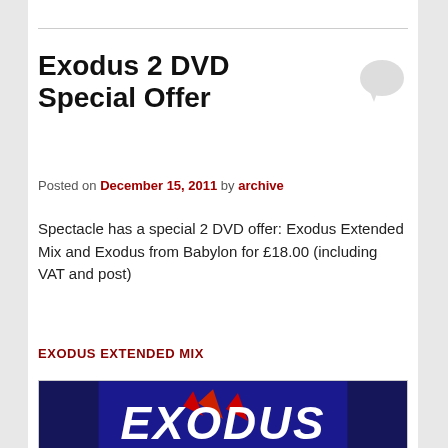Exodus 2 DVD Special Offer
Posted on December 15, 2011 by archive
Spectacle has a special 2 DVD offer: Exodus Extended Mix and Exodus from Babylon for £18.00 (including VAT and post)
EXODUS EXTENDED MIX
[Figure (photo): DVD cover image showing the word EXODUS in large white stylized text on a dark blue background with red graphic elements]